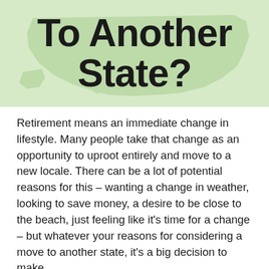[Figure (infographic): Light green banner with a faint US map silhouette in the background and bold black text reading 'To Another State?']
Retirement means an immediate change in lifestyle. Many people take that change as an opportunity to uproot entirely and move to a new locale. There can be a lot of potential reasons for this – wanting a change in weather, looking to save money, a desire to be close to the beach, just feeling like it's time for a change – but whatever your reasons for considering a move to another state, it's a big decision to make.
For some retirees, it's absolutely the right move. For others, you could come to regret it if you don't carefully weigh all the factors involved.